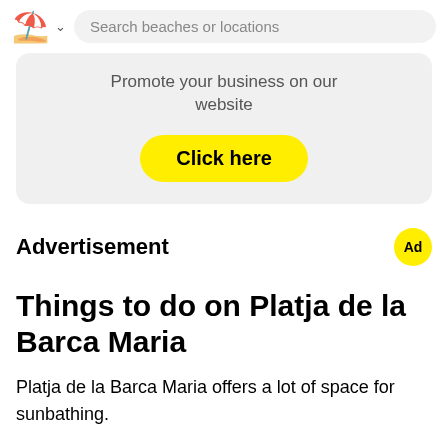Search beaches or locations
[Figure (screenshot): Promotional box with text 'Promote your business on our website' and a yellow 'Click here' button]
Advertisement
Things to do on Platja de la Barca Maria
Platja de la Barca Maria offers a lot of space for sunbathing.